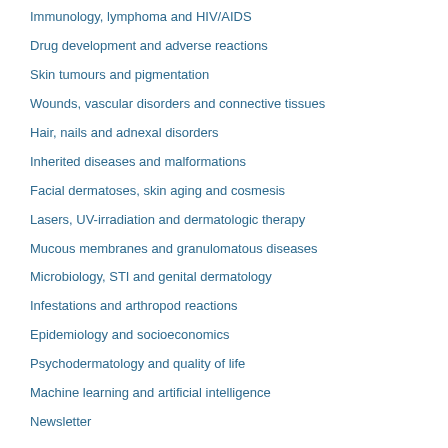Immunology, lymphoma and HIV/AIDS
Drug development and adverse reactions
Skin tumours and pigmentation
Wounds, vascular disorders and connective tissues
Hair, nails and adnexal disorders
Inherited diseases and malformations
Facial dermatoses, skin aging and cosmesis
Lasers, UV-irradiation and dermatologic therapy
Mucous membranes and granulomatous diseases
Microbiology, STI and genital dermatology
Infestations and arthropod reactions
Epidemiology and socioeconomics
Psychodermatology and quality of life
Machine learning and artificial intelligence
Newsletter